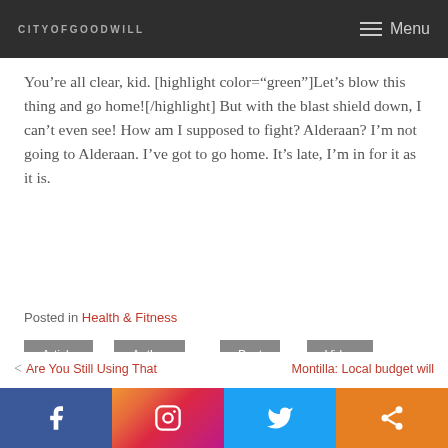CITYOFGOODWILL  Menu
You’re all clear, kid. [highlight color=“green”]Let’s blow this thing and go home![/highlight] But with the blast shield down, I can’t even see! How am I supposed to fight? Alderaan? I’m not going to Alderaan. I’ve got to go home. It’s late, I’m in for it as it is.
Posted in Health & Fitness
Article
Author
Post
Video
< Are You Still Using That    Montilla: Local budget will